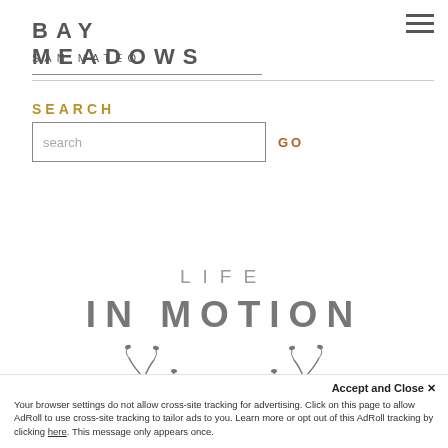BAY MEADOWS SAN MATEO
SEARCH
search  GO
LIFE
IN MOTION
[Figure (illustration): Decorative plant/vine illustration with small heart-shaped leaves and flourishes]
Accept and Close ✕
Your browser settings do not allow cross-site tracking for advertising. Click on this page to allow AdRoll to use cross-site tracking to tailor ads to you. Learn more or opt out of this AdRoll tracking by clicking here. This message only appears once.